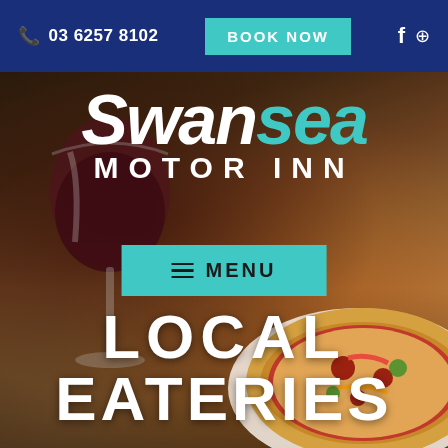03 6257 8102   BOOK NOW
Swansea MOTOR INN
≡ MENU
[Figure (photo): Background photo of a wine glass with red wine and a pizza on a wooden table, dark atmospheric restaurant setting]
LOCAL EATERIES